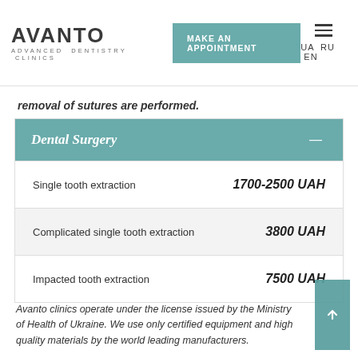AVANTO ADVANCED DENTISTRY CLINICS | MAKE AN APPOINTMENT | UA RU EN
removal of sutures are performed.
Dental Surgery
| Service | Price |
| --- | --- |
| Single tooth extraction | 1700-2500 UAH |
| Complicated single tooth extraction | 3800 UAH |
| Impacted tooth extraction | 7500 UAH |
Avanto clinics operate under the license issued by the Ministry of Health of Ukraine. We use only certified equipment and high quality materials by the world leading manufacturers.